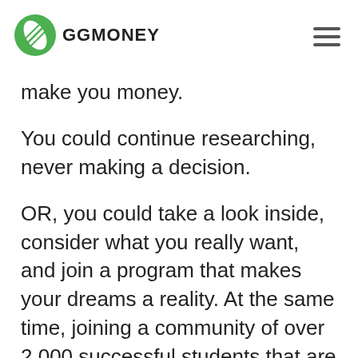GGMONEY
make you money.
You could continue researching, never making a decision.
OR, you could take a look inside, consider what you really want, and join a program that makes your dreams a reality. At the same time, joining a community of over 2,000 successful students that are living life on their own terms thanks to Digital